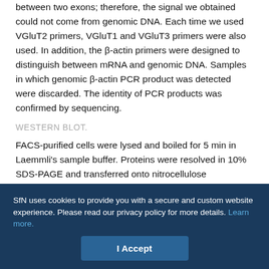between two exons; therefore, the signal we obtained could not come from genomic DNA. Each time we used VGluT2 primers, VGluT1 and VGluT3 primers were also used. In addition, the β-actin primers were designed to distinguish between mRNA and genomic DNA. Samples in which genomic β-actin PCR product was detected were discarded. The identity of PCR products was confirmed by sequencing.
WESTERN BLOT.
FACS-purified cells were lysed and boiled for 5 min in Laemmli's sample buffer. Proteins were resolved in 10% SDS-PAGE and transferred onto nitrocellulose membranes. Membranes were incubated in Tris-buffered saline containing 5% dried skimmed milk and 0.1% Tween 20 for 1 h to block nonspecific protein binding sites
SfN uses cookies to provide you with a secure and custom website experience. Please read our privacy policy for more details. Learn more.